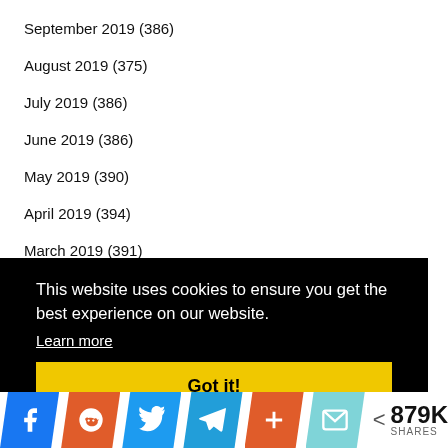September 2019 (386)
August 2019 (375)
July 2019 (386)
June 2019 (386)
May 2019 (390)
April 2019 (394)
March 2019 (391)
February 2019 (394)
This website uses cookies to ensure you get the best experience on our website. Learn more
Got it!
879K SHARES